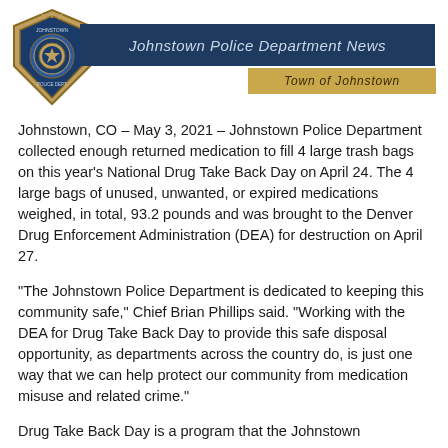[Figure (logo): Johnstown Police Department badge/shield logo on the left, dark navy banner reading 'Johnstown Police Department News' in italic text, with a gold 'Town of Johnstown' tag below right]
Johnstown, CO – May 3, 2021 – Johnstown Police Department collected enough returned medication to fill 4 large trash bags on this year's National Drug Take Back Day on April 24. The 4 large bags of unused, unwanted, or expired medications weighed, in total, 93.2 pounds and was brought to the Denver Drug Enforcement Administration (DEA) for destruction on April 27.
“The Johnstown Police Department is dedicated to keeping this community safe,” Chief Brian Phillips said. “Working with the DEA for Drug Take Back Day to provide this safe disposal opportunity, as departments across the country do, is just one way that we can help protect our community from medication misuse and related crime.”
Drug Take Back Day is a program that the Johnstown